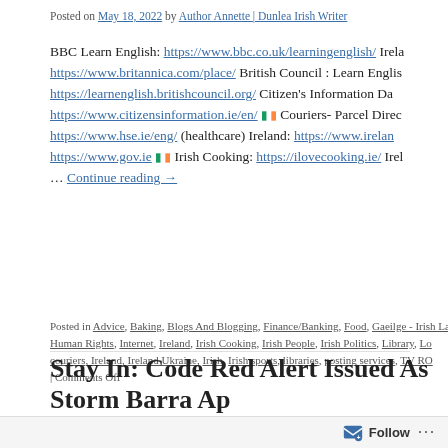Posted on May 18, 2022 by Author Annette | Dunlea Irish Writer
BBC Learn English: https://www.bbc.co.uk/learningenglish/ Irela… https://www.britannica.com/place/ British Council: Learn Englis… https://learnenglish.britishcouncil.org/ Citizen's Information Da… https://www.citizensinformation.ie/en/ 🇮🇪 Couriers- Parcel Direc… https://www.hse.ie/eng/ (healthcare) Ireland: https://www.irelan… https://www.gov.ie 🇮🇪 Irish Cooking: https://ilovecooking.ie/ Irel… … Continue reading →
Posted in Advice, Baking, Blogs And Blogging, Finance/Banking, Food, Gaeilge - Irish La… Human Rights, Internet, Ireland, Irish Cooking, Irish People, Irish Politics, Library, Lo… couriers, Ireland, Ireland Ukraine, Irish, Irish sports, libraries, posting services, TV RO… | Comments Off
Stay In: Code Red Alert Issued As Storm Barra Ap… Weather Bomb
Posted on December 7, 2021 by Author Annette | Dunlea Irish Writer